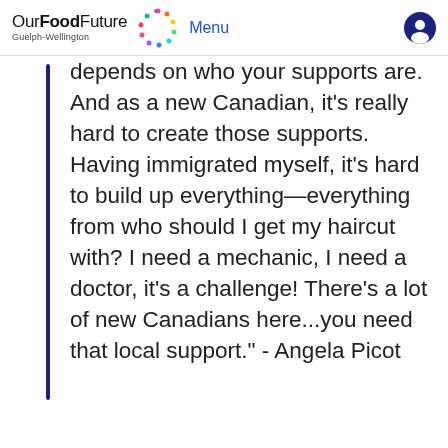Our Food Future Guelph-Wellington  Menu
depends on who your supports are. And as a new Canadian, it's really hard to create those supports. Having immigrated myself, it's hard to build up everything—everything from who should I get my haircut with? I need a mechanic, I need a doctor, it's a challenge! There's a lot of new Canadians here...you need that local support." - Angela Picot